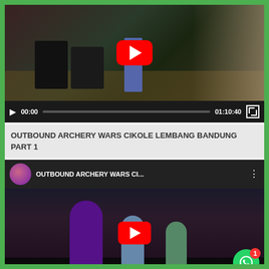[Figure (screenshot): YouTube video player showing a live performance/concert scene with a man playing violin on stage, speakers and equipment visible. Video controls show 00:00 current time and 01:10:40 total duration.]
OUTBOUND ARCHERY WARS CIKOLE LEMBANG BANDUNG PART 1
[Figure (screenshot): YouTube embedded video thumbnail showing three people (women/girls) singing on a dark stage. The video title bar shows 'OUTBOUND ARCHERY WARS CI...' with a channel avatar. A WhatsApp notification badge with count 1 is visible in the bottom right corner.]